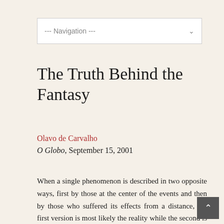[Figure (screenshot): Navigation dropdown bar with text '--- Navigation ---' and a chevron arrow]
The Truth Behind the Fantasy
Olavo de Carvalho
O Globo, September 15, 2001
When a single phenomenon is described in two opposite ways, first by those at the center of the events and then by those who suffered its effects from a distance, the first version is most likely the reality while the second is fantasy. But there's more to it than that. If one admits only one of two perspectives, one runs the risk of not understanding anything at all.